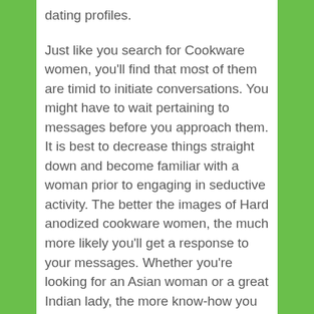dating profiles.
Just like you search for Cookware women, you'll find that most of them are timid to initiate conversations. You might have to wait pertaining to messages before you approach them. It is best to decrease things straight down and become familiar with a woman prior to engaging in seductive activity. The better the images of Hard anodized cookware women, the much more likely you'll get a response to your messages. Whether you're looking for an Asian woman or a great Indian lady, the more know-how you gain about the culture, the better.
Once you could have learned the essential characteristics of Asian women, you can use